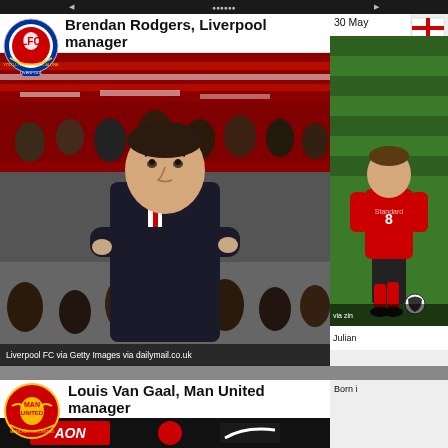Brendan Rodgers, Liverpool manager
[Figure (photo): Brendan Rodgers, Liverpool manager, standing with arms crossed in front of a crowd of supporters waving red and white scarves at Anfield. Liverpool FC crest visible top left.]
Liverpool FC via Getty Images via dailymail.co.uk
[Figure (photo): England flag icon and photo of a Liverpool player (Steven Gerrard) in action, in red kit on green pitch. Partial text: 30 May]
Julian
via zin
Louis Van Gaal, Man United manager
[Figure (photo): Louis Van Gaal, Manchester United manager, at a press conference with AON and Manchester United branding/logos visible. Man Utd crest visible top left.]
Born i